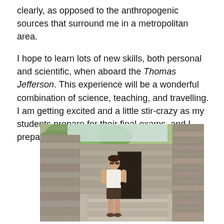clearly, as opposed to the anthropogenic sources that surround me in a metropolitan area.

I hope to learn lots of new skills, both personal and scientific, when aboard the Thomas Jefferson. This experience will be a wonderful combination of science, teaching, and travelling. I am getting excited and a little stir-crazy as my students prepare for their final exams, and I prepare for my summer adventure!
[Figure (photo): A woman wearing sunglasses and a white tank top with shorts stands in front of ancient stone ruins, with a narrow stone doorway behind her and green trees visible in the background.]